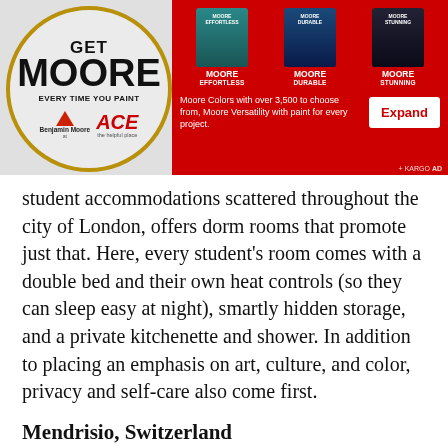[Figure (infographic): Benjamin Moore at ACE hardware advertisement banner. Red background with paint cans (Moore Effortless, Moore Durable, Moore Stunning). Left side shows circular badge with 'GET MOORE EVERY TIME YOU PAINT' and Benjamin Moore / ACE logos. Text reads 'Moore Colors with over 3,500 to choose from, Moore Versatility with paint for every project.' Expand button on right. Kargo Ad tag bottom right.]
student accommodations scattered throughout the city of London, offers dorm rooms that promote just that. Here, every student's room comes with a double bed and their own heat controls (so they can sleep easy at night), smartly hidden storage, and a private kitchenette and shower. In addition to placing an emphasis on art, culture, and color, privacy and self-care also come first.
Mendrisio, Switzerland
Consisting of two rectangular concrete buildings separated by a garden, Casa dell'Accademia,